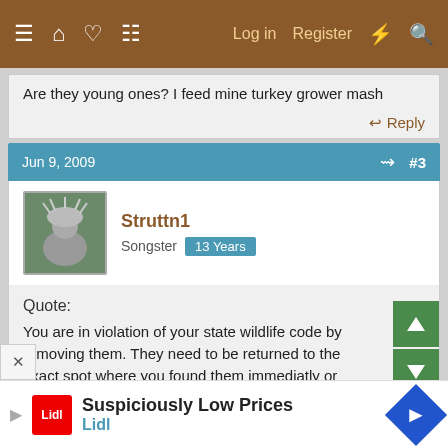Navigation bar with menu, home, chat, document icons; Log in, Register, lightning, search icons
Are they young ones? I feed mine turkey grower mash
Reply
Jun 9, 2009  #3
Struttn1 Songster 13 Years
Quote:
You are in violation of your state wildlife code by removing them. They need to be returned to the exact spot where you found them immediatly or they have no chance of surviving.
Reply
Suspiciously Low Prices Lidl